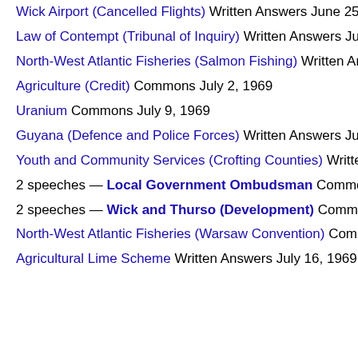Wick Airport (Cancelled Flights) Written Answers June 25, 196…
Law of Contempt (Tribunal of Inquiry) Written Answers June 26…
North-West Atlantic Fisheries (Salmon Fishing) Written Answe…
Agriculture (Credit) Commons July 2, 1969
Uranium Commons July 9, 1969
Guyana (Defence and Police Forces) Written Answers July 10…
Youth and Community Services (Crofting Counties) Written An…
2 speeches — Local Government Ombudsman Commons J…
2 speeches — Wick and Thurso (Development) Commons J…
North-West Atlantic Fisheries (Warsaw Convention) Commons…
Agricultural Lime Scheme Written Answers July 16, 1969